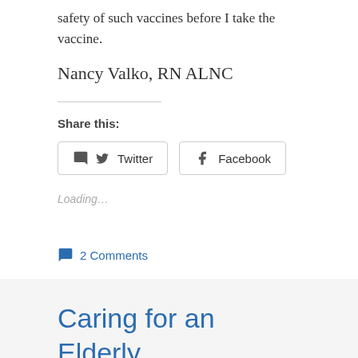safety of such vaccines before I take the vaccine.
Nancy Valko, RN ALNC
Share this:
Twitter
Facebook
Loading...
2 Comments
Caring for an Elderly Relative who Wants to Di...